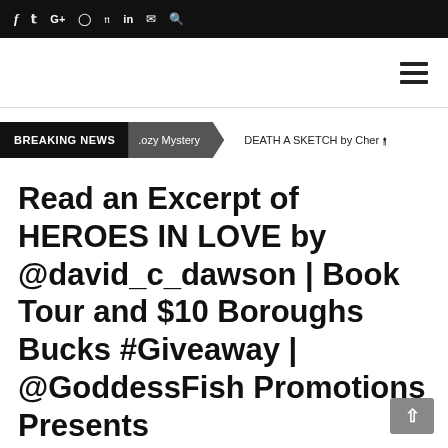f  ʏ  G+  ⊙  ℗  in  ✉  🔍
[Figure (other): Hamburger menu icon (three horizontal lines) at top right of navigation area]
BREAKING NEWS  Cozy Mystery  DEATH A SKETCH by Chery
Read an Excerpt of HEROES IN LOVE by @david_c_dawson | Book Tour and $10 Boroughs Bucks #Giveaway | @GoddessFish Promotions Presents #ContemporaryRomance